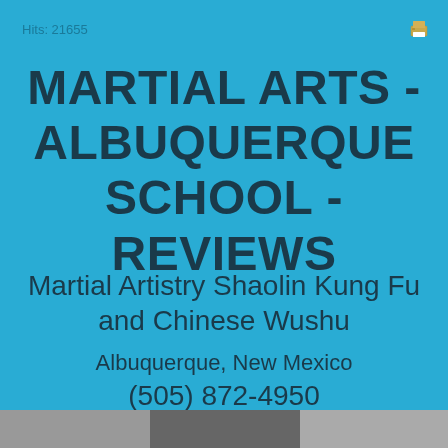Hits: 21655
MARTIAL ARTS - ALBUQUERQUE SCHOOL - REVIEWS
Martial Artistry Shaolin Kung Fu and Chinese Wushu
Albuquerque, New Mexico
(505) 872-4950
[Figure (photo): A photo strip at the bottom of the page showing martial arts imagery]